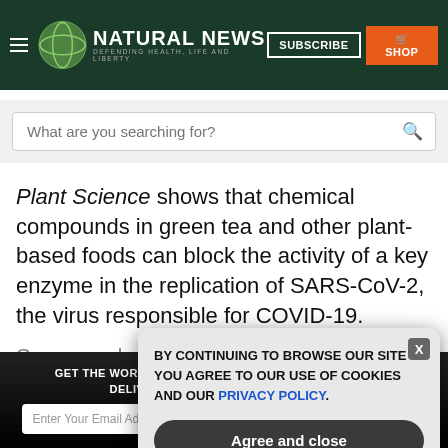NATURAL NEWS — DEFENDING HEALTH, LIFE AND LIBERTY
What are you searching for?
Plant Science shows that chemical compounds in green tea and other plant-based foods can block the activity of a key enzyme in the replication of SARS-CoV-2, the virus responsible for COVID-19.
GET THE WORLD'S BEST NATURAL HEALTH NEWSLETTER DELIVERED STRAIGHT TO YOUR INBOX
BY CONTINUING TO BROWSE OUR SITE YOU AGREE TO OUR USE OF COOKIES AND OUR PRIVACY POLICY.